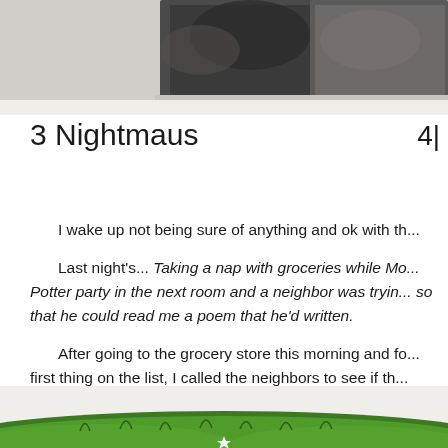[Figure (photo): Dark abstract watercolor or painted texture at the top of the page, dark grays and blacks]
3 Nightmaus
4/
I wake up not being sure of anything and ok with th...
Last night's... Taking a nap with groceries while Mo... Potter party in the next room and a neighbor was tryin... so that he could read me a poem that he'd written.
After going to the grocery store this morning and fo... first thing on the list, I called the neighbors to see if th... missing chickpeas? They did! (When I went over to ... the dream and offered to listen to any poems he migh... good laugh over the idea.
[Figure (illustration): Green grass or garden scene at the bottom of the page with a small star or white spot visible]